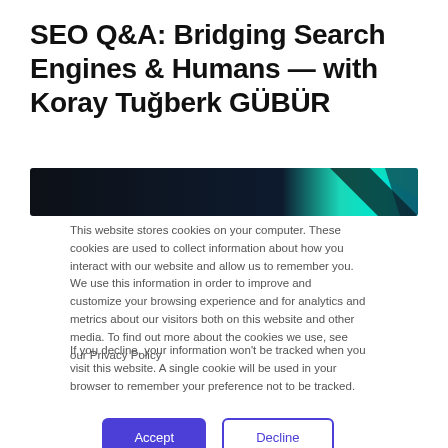SEO Q&A: Bridging Search Engines & Humans — with Koray Tuğberk GÜBÜR
[Figure (illustration): Dark banner image with teal and black geometric/gradient design, likely a decorative header image for the article]
This website stores cookies on your computer. These cookies are used to collect information about how you interact with our website and allow us to remember you. We use this information in order to improve and customize your browsing experience and for analytics and metrics about our visitors both on this website and other media. To find out more about the cookies we use, see our Privacy Policy
If you decline, your information won't be tracked when you visit this website. A single cookie will be used in your browser to remember your preference not to be tracked.